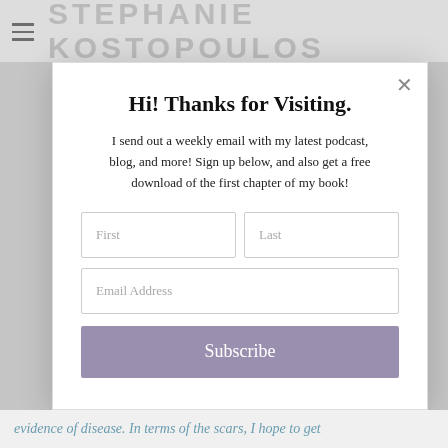STEPHANIE KOSTOPOULOS
Hi! Thanks for Visiting.
I send out a weekly email with my latest podcast, blog, and more! Sign up below, and also get a free download of the first chapter of my book!
First | Last | Email Address | Subscribe
evidence of disease. In terms of the scars, I hope to get